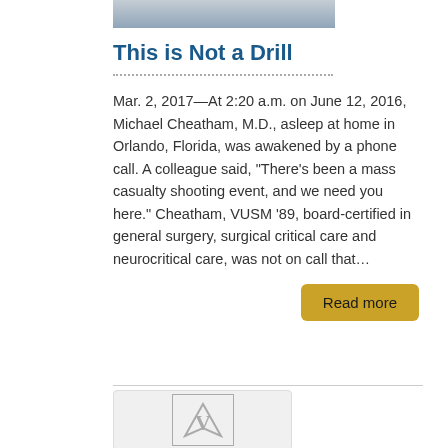[Figure (photo): Partial photo strip at top of page showing a person in white clothing]
This is Not a Drill
Mar. 2, 2017—At 2:20 a.m. on June 12, 2016, Michael Cheatham, M.D., asleep at home in Orlando, Florida, was awakened by a phone call. A colleague said, “There’s been a mass casualty shooting event, and we need you here.” Cheatham, VUSM ’89, board-certified in general surgery, surgical critical care and neurocritical care, was not on call that…
Read more
[Figure (logo): Vanderbilt University Medical School logo placeholder card with stylized V symbol]